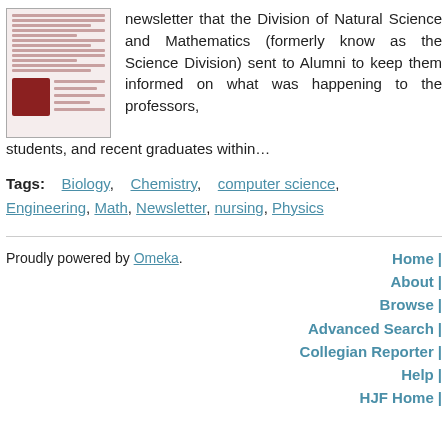[Figure (illustration): Thumbnail of a newsletter document page with red/maroon decorative image at bottom left]
newsletter that the Division of Natural Science and Mathematics (formerly know as the Science Division) sent to Alumni to keep them informed on what was happening to the professors, students, and recent graduates within…
Tags: Biology, Chemistry, computer science, Engineering, Math, Newsletter, nursing, Physics
Proudly powered by Omeka. | Home | About | Browse | Advanced Search | Collegian Reporter | Help | HJF Home